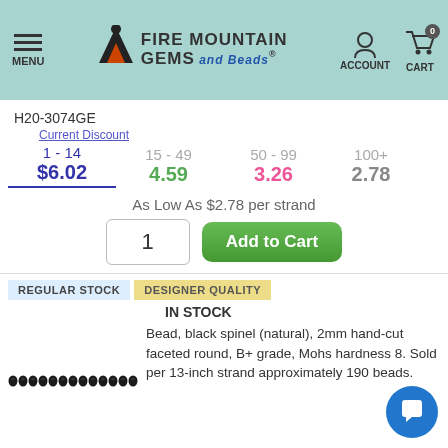MENU | FIRE MOUNTAIN GEMS and Beads | ACCOUNT | CART 0
H20-3074GE
| Current Discount | 15 - 49 | 50 - 99 | 100+ |
| --- | --- | --- | --- |
| 1 - 14 | 15 - 49 | 50 - 99 | 100+ |
| $6.02 | 4.59 | 3.26 | 2.78 |
As Low As $2.78 per strand
REGULAR STOCK   DESIGNER QUALITY
IN STOCK
Bead, black spinel (natural), 2mm hand-cut faceted round, B+ grade, Mohs hardness 8. Sold per 13-inch strand approximately 190 beads.
[Figure (photo): String of black spinel beads shown horizontally]